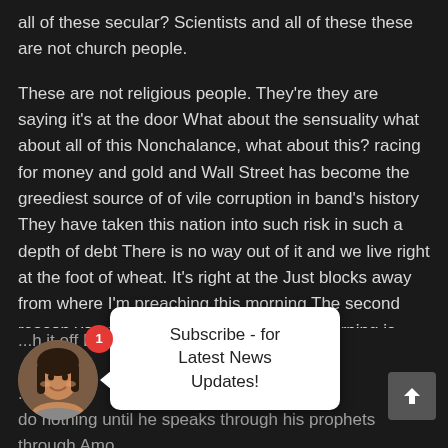all of these secular? Scientists and all of these these are not church people.
These are not religious people. They're they are saying it's at the door What about the sensuality what about all of this Nonchalance, what about this? racing for money and gold and Wall Street has become the greediest source of of vile corruption in band's history They have taken this nation into such risk in such a depth of debt There is no way out of it and we live right at the foot of wheat. It's right at the Just blocks away from where I'm preaching this morning The second reason you see what I'm preaching this morning is mild compared to what I hear now is That right or wrong What you hear in the news and what you hear con...ly fe... ...h it off But you see God ...mov... ...e warning times when ...sp... ...ure says the Lord's ... do nothing until he speaks through his prophets through Amo... God said I don't do anything until I warn through my prophets and
[Figure (illustration): Circular avatar photo of a woman with dark hair, smiling, on a dark background]
Subscribe - for Latest News Updates!